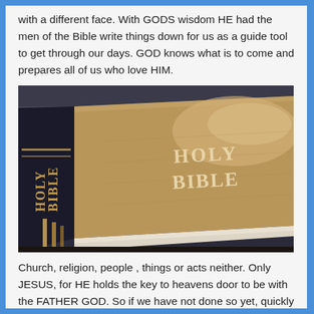with a different face. With GODS wisdom HE had the men of the Bible write things down for us as a guide tool to get through our days. GOD knows what is to come and prepares all of us who love HIM.
[Figure (photo): Close-up photo of a Holy Bible — leather-bound cover with embossed 'HOLY BIBLE' text on top, spine visible on left with gold lettering and bookmark ribbons.]
Church, religion, people , things or acts neither. Only JESUS, for HE holds the key to heavens door to be with the FATHER GOD. So if we have not done so yet, quickly we must repent and walk straight to JESUS.